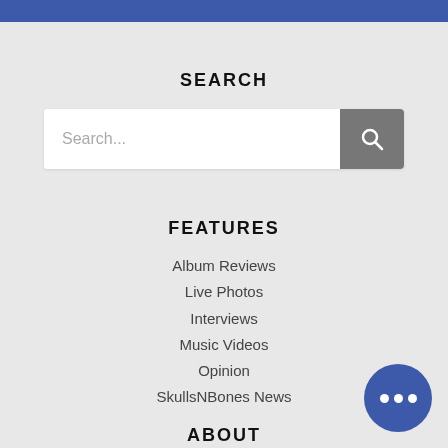[Figure (screenshot): Blue horizontal bar at the top of the page]
SEARCH
[Figure (screenshot): Search input bar with placeholder text 'Search...' and a grey search button with magnifying glass icon]
FEATURES
Album Reviews
Live Photos
Interviews
Music Videos
Opinion
SkullsNBones News
ABOUT
[Figure (illustration): Blue circular chat bubble button with three white dots, positioned at bottom right]